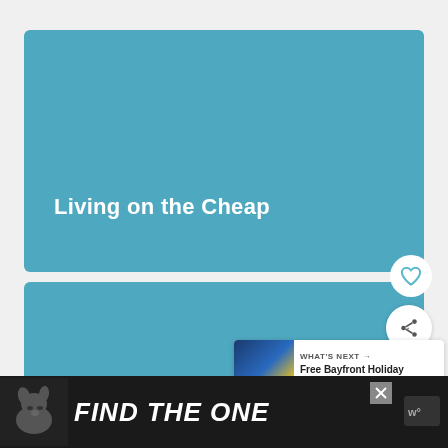[Figure (screenshot): Teal/blue card with text 'Living on the Cheap']
Living on the Cheap
[Figure (screenshot): Teal/blue card with text 'Albuquerque on the Cheap']
Albuquerque on the Cheap
WHAT'S NEXT → Free Bayfront Holiday Village
[Figure (screenshot): Advertisement banner: FIND THE ONE with dog image]